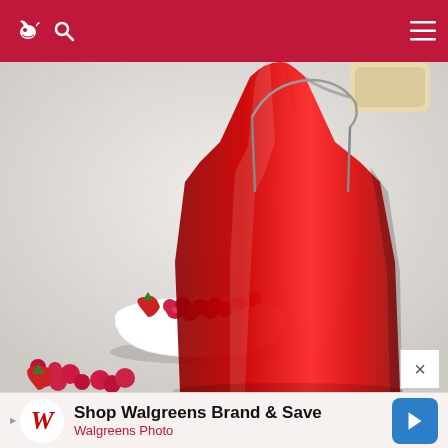Navigation bar with bird logo, search icon, and menu icon
[Figure (photo): A red glass bottle with a wire-bail latch stopper, filled with red berry liquid (strawberry-raspberry), alongside a white bowl of mixed strawberries and raspberries, with scattered berries on a white surface.]
[Figure (infographic): Advertisement bar: Shop Walgreens Brand & Save - Walgreens Photo, with Walgreens W logo and blue navigation arrow icon. Close button (x) in top-right corner.]